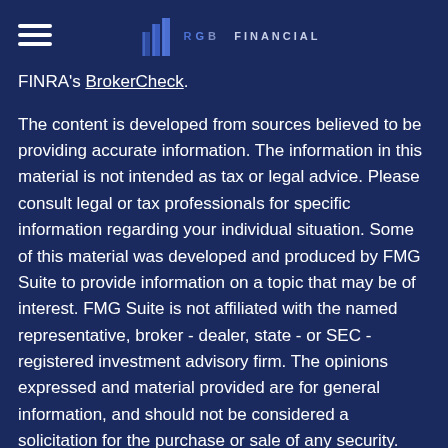RGB Financial
FINRA's BrokerCheck.
The content is developed from sources believed to be providing accurate information. The information in this material is not intended as tax or legal advice. Please consult legal or tax professionals for specific information regarding your individual situation. Some of this material was developed and produced by FMG Suite to provide information on a topic that may be of interest. FMG Suite is not affiliated with the named representative, broker - dealer, state - or SEC - registered investment advisory firm. The opinions expressed and material provided are for general information, and should not be considered a solicitation for the purchase or sale of any security.
We take protecting your data and privacy very seriously. As of January 1, 2020 the California Consumer Privacy